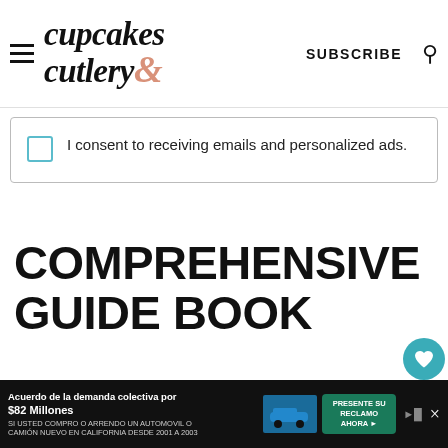cupcakes & cutlery | SUBSCRIBE
I consent to receiving emails and personalized ads.
COMPREHENSIVE GUIDE BOOK
Each vacation rental home provides a guidebook for guests. The book shows you how to utilize every feature home you are staying in including fire p...
[Figure (screenshot): What's Next sidebar card showing 'This Car Vent Diffuser Will...']
[Figure (infographic): Advertisement banner: Acuerdo de la demanda colectiva por $82 Millones car lawsuit ad in Spanish]